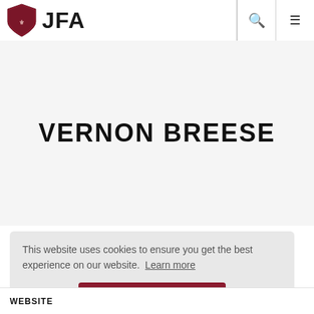[Figure (logo): JFA shield logo with text 'JFA' in bold next to it, plus search and menu icons in header]
VERNON BREESE
This website uses cookies to ensure you get the best experience on our website. Learn more
Got it!
WEBSITE